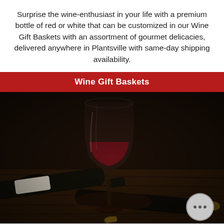Surprise the wine-enthusiast in your life with a premium bottle of red or white that can be customized in our Wine Gift Baskets with an assortment of gourmet delicacies, delivered anywhere in Plantsville with same-day shipping availability.
Wine Gift Baskets
[Figure (photo): Dark moody photo of a red wine glass filled with red wine next to two wine bottles lying on a wooden surface, with a cork in the foreground. A chat bubble icon appears in the bottom right corner.]